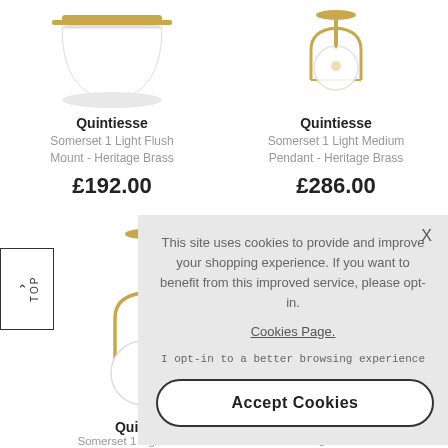[Figure (illustration): Quintiesse Somerset 1 Light Flush Mount in Heritage Brass - top view of dome-shaped ceiling light]
Quintiesse
Somerset 1 Light Flush Mount - Heritage Brass
£192.00
[Figure (illustration): Quintiesse Somerset 1 Light Medium Pendant in Heritage Brass - pendant light with clear globe]
Quintiesse
Somerset 1 Light Medium Pendant - Heritage Brass
£286.00
[Figure (illustration): Quintiesse Somerset 1 Light Medium Pendant globe light partially visible]
Quintiesse
Somerset 1 Light Medium
Silas 4 Light Pendant Semi-
This site uses cookies to provide and improve your shopping experience. If you want to benefit from this improved service, please opt-in.
Cookies Page.
I opt-in to a better browsing experience
Accept Cookies